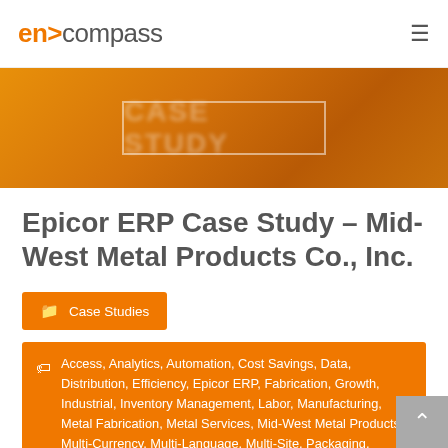encompass
[Figure (photo): Orange-tinted hero banner image with a semi-transparent white bordered rectangle containing blurred text 'CASE STUDY']
Epicor ERP Case Study – Mid-West Metal Products Co., Inc.
Case Studies
Access, Analytics, Automation, Cost Savings, Data, Distribution, Efficiency, Epicor ERP, Fabrication, Growth, Industrial, Inventory Management, Labor, Manufacturing, Metal Fabrication, Metal Services, Mid-West Metal Products, Multi-Currency, Multi-Language, Multi-Site, Packaging, Picking, Processing, Production, Shipping, Visibility, Wholesale
Sean Balogh